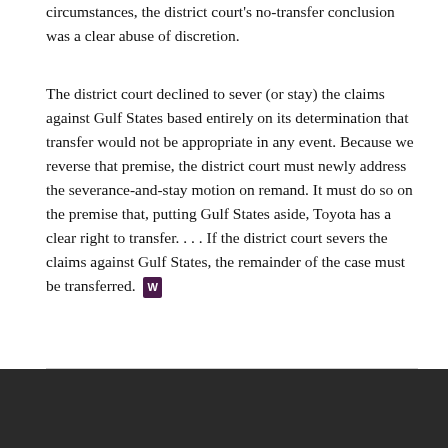circumstances, the district court's no-transfer conclusion was a clear abuse of discretion.
The district court declined to sever (or stay) the claims against Gulf States based entirely on its determination that transfer would not be appropriate in any event. Because we reverse that premise, the district court must newly address the severance-and-stay motion on remand. It must do so on the premise that, putting Gulf States aside, Toyota has a clear right to transfer. . . . If the district court severs the claims against Gulf States, the remainder of the case must be transferred.
Authors
By using this site, you agree to our updated Privacy Policy, Terms & Conditions, and Cookies Policy.
Lawrence M. Sung